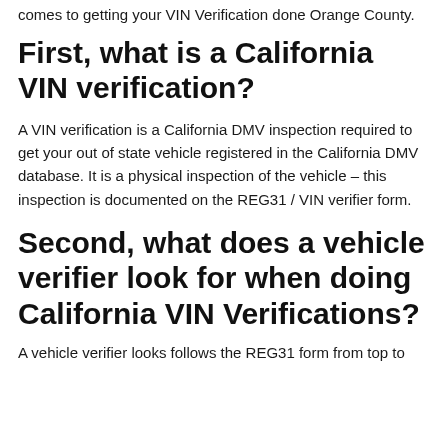comes to getting your VIN Verification done Orange County.
First, what is a California VIN verification?
A VIN verification is a California DMV inspection required to get your out of state vehicle registered in the California DMV database. It is a physical inspection of the vehicle – this inspection is documented on the REG31 / VIN verifier form.
Second, what does a vehicle verifier look for when doing California VIN Verifications?
A vehicle verifier looks follows the REG31 form from top to